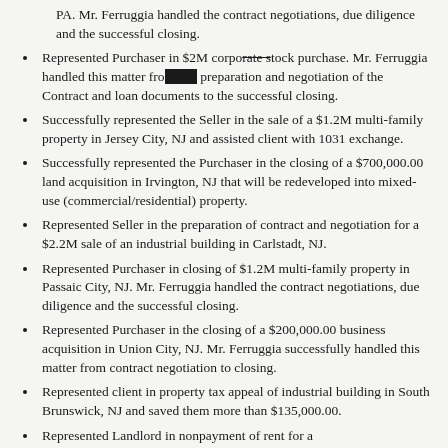PA.  Mr. Ferruggia handled the contract negotiations, due diligence and the successful closing.
Represented Purchaser in $2M corporate stock purchase.  Mr. Ferruggia handled this matter from the preparation and negotiation of the Contract and loan documents to the successful closing.
Successfully represented the Seller in the sale of a $1.2M multi-family property in Jersey City, NJ and assisted client with 1031 exchange.
Successfully represented the Purchaser in the closing of a $700,000.00 land acquisition in Irvington, NJ that will be redeveloped into mixed-use (commercial/residential) property.
Represented Seller in the preparation of contract and negotiation for a $2.2M sale of an industrial building in Carlstadt, NJ.
Represented Purchaser in closing of $1.2M multi-family property in Passaic City, NJ.  Mr. Ferruggia handled the contract negotiations, due diligence and the successful closing.
Represented Purchaser in the closing of a $200,000.00 business acquisition in Union City, NJ.  Mr. Ferruggia successfully handled this matter from contract negotiation to closing.
Represented client in property tax appeal of industrial building in South Brunswick, NJ and saved them more than $135,000.00.
Represented Landlord in nonpayment of rent for a